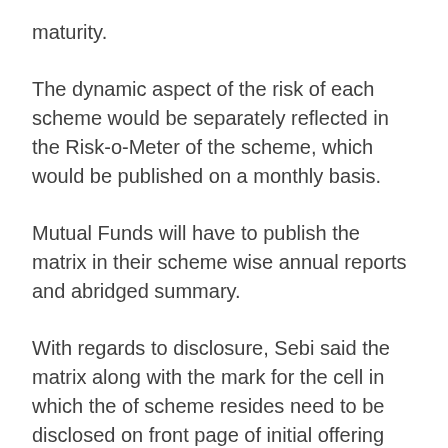maturity.
The dynamic aspect of the risk of each scheme would be separately reflected in the Risk-o-Meter of the scheme, which would be published on a monthly basis.
Mutual Funds will have to publish the matrix in their scheme wise annual reports and abridged summary.
With regards to disclosure, Sebi said the matrix along with the mark for the cell in which the of scheme resides need to be disclosed on front page of initial offering application form, Scheme Information Documents (SID) and Key Information Memorandum (KIM), common application form along with the